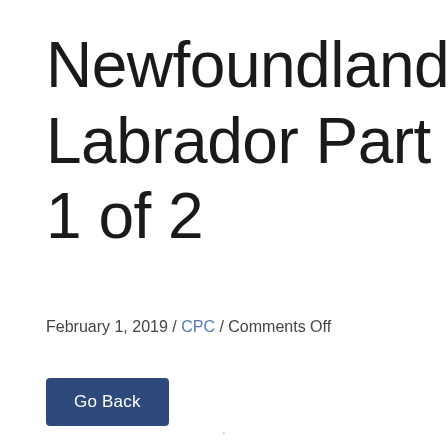Newfoundland-Labrador Part 1 of 2
February 1, 2019 / CPC / Comments Off
Go Back